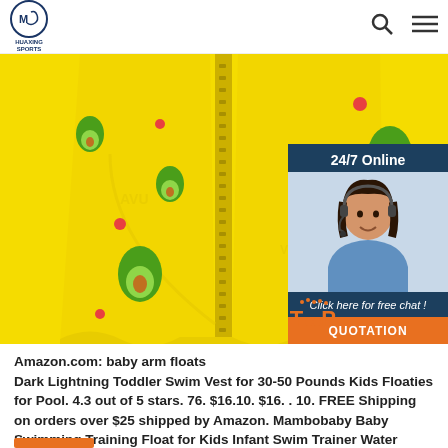HUAXING SPORTS
[Figure (photo): Yellow baby swim vest with avocado print design, showing front zipper closure, displayed flat on white background. A 24/7 Online customer service chat widget overlays the top-right corner with a photo of a woman with a headset, a 'Click here for free chat!' message, and an orange 'QUOTATION' button. A 'TOP' badge in orange appears in the lower-right area of the image.]
Amazon.com: baby arm floats Dark Lightning Toddler Swim Vest for 30-50 Pounds Kids Floaties for Pool. 4.3 out of 5 stars. 76. $16.10. $16. . 10. FREE Shipping on orders over $25 shipped by Amazon. Mambobaby Baby Swimming Training Float for Kids Infant Swim Trainer Water Floats Ring Aid Vest with Arm Wings Non-Inflatable Toddler.